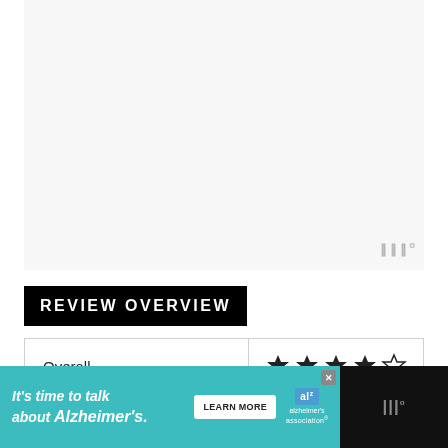[Figure (other): Top white/light area with a small watermark-style logo (three vertical bars with a degree symbol) in the bottom right corner]
REVIEW OVERVIEW
| Overall | Rating |
| --- | --- |
| Overall | ★★★★☆ |
[Figure (infographic): Advertisement banner: It's time to talk about Alzheimer's. LEARN MORE button. Alzheimer's Association logo. Close button (x). Watermark logo on right.]